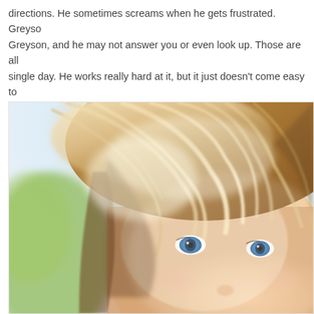directions. He sometimes screams when he gets frustrated. Greyson, and he may not answer you or even look up. Those are all single day. He works really hard at it, but it just doesn't come easy to helping to teach him too.
[Figure (photo): Close-up photo of a young child with light blonde/brown tousled hair, striking blue eyes, and fair skin. The background is softly blurred with green and blue tones from an outdoor setting. The image is brightly lit with warm sunlight creating highlights in the child's hair.]